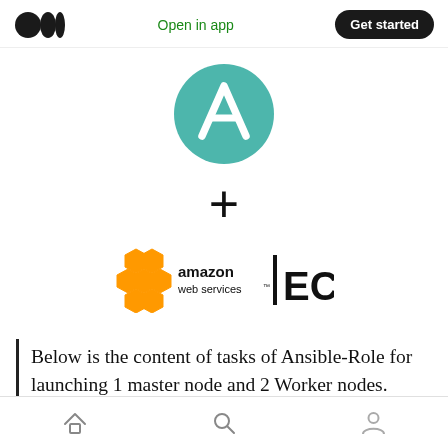Open in app  Get started
[Figure (logo): Ansible logo: teal circle with white A (tent/triangle shape) inside]
+
[Figure (logo): Amazon Web Services EC2 logo: orange hexagonal honeycomb icon followed by 'amazon web services' text and bold 'EC2' text]
Below is the content of tasks of Ansible-Role for launching 1 master node and 2 Worker nodes. This role will launch the AWS-instances and
Home  Search  Profile